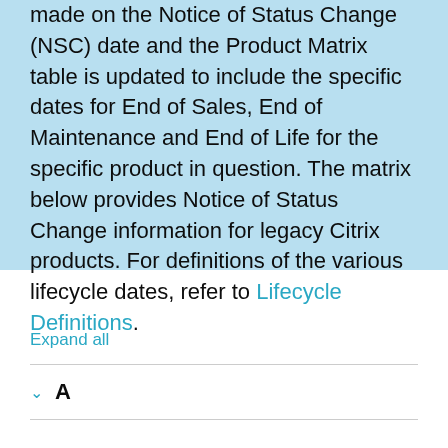made on the Notice of Status Change (NSC) date and the Product Matrix table is updated to include the specific dates for End of Sales, End of Maintenance and End of Life for the specific product in question. The matrix below provides Notice of Status Change information for legacy Citrix products. For definitions of the various lifecycle dates, refer to Lifecycle Definitions.
Expand all
A